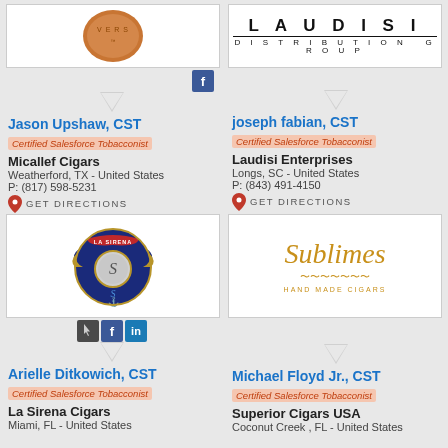[Figure (logo): Coin/penny style logo top left (Micallef Cigars)]
[Figure (logo): Laudisi Distribution Group text logo top right]
Jason Upshaw, CST
Certified Salesforce Tobacconist
Micallef Cigars
Weatherford, TX - United States
P: (817) 598-5231
GET DIRECTIONS
joseph fabian, CST
Certified Salesforce Tobacconist
Laudisi Enterprises
Longs, SC - United States
P: (843) 491-4150
GET DIRECTIONS
[Figure (logo): La Sirena Cigars ornate navy blue badge logo]
[Figure (logo): Sublimes Hand Made Cigars gold script logo]
Arielle Ditkowich, CST
Certified Salesforce Tobacconist
La Sirena Cigars
Miami, FL - United States
Michael Floyd Jr., CST
Certified Salesforce Tobacconist
Superior Cigars USA
Coconut Creek, FL - United States